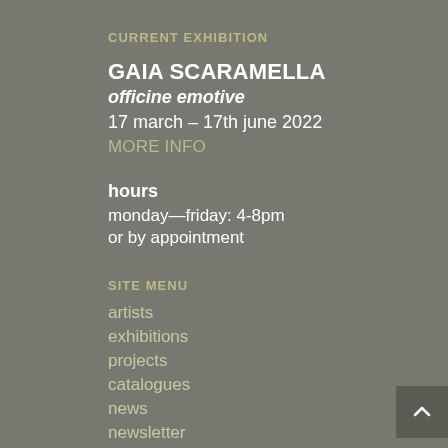CURRENT EXHIBITION
GAIA SCARAMELLA
officine emotive
17 march – 17th june 2022
MORE INFO
hours
monday—friday: 4-8pm
or by appointment
SITE MENU
artists
exhibitions
projects
catalogues
news
newsletter
press